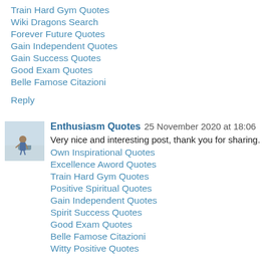Train Hard Gym Quotes
Wiki Dragons Search
Forever Future Quotes
Gain Independent Quotes
Gain Success Quotes
Good Exam Quotes
Belle Famose Citazioni
Reply
Enthusiasm Quotes  25 November 2020 at 18:06
Very nice and interesting post, thank you for sharing.
Own Inspirational Quotes
Excellence Aword Quotes
Train Hard Gym Quotes
Positive Spiritual Quotes
Gain Independent Quotes
Spirit Success Quotes
Good Exam Quotes
Belle Famose Citazioni
Witty Positive Quotes